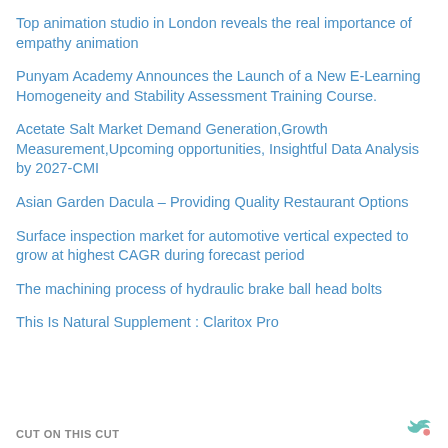Top animation studio in London reveals the real importance of empathy animation
Punyam Academy Announces the Launch of a New E-Learning Homogeneity and Stability Assessment Training Course.
Acetate Salt Market Demand Generation,Growth Measurement,Upcoming opportunities, Insightful Data Analysis by 2027-CMI
Asian Garden Dacula – Providing Quality Restaurant Options
Surface inspection market for automotive vertical expected to grow at highest CAGR during forecast period
The machining process of hydraulic brake ball head bolts
This Is Natural Supplement : Claritox Pro
CUT ON THIS CUT